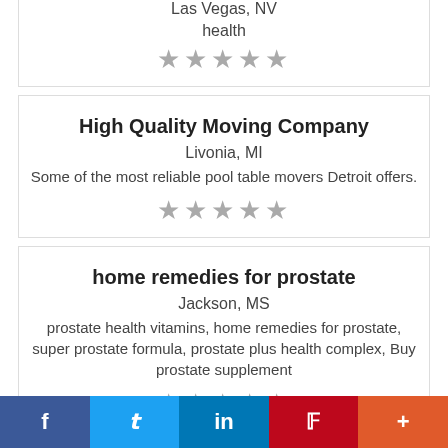Las Vegas, NV
health
★★★★★
High Quality Moving Company
Livonia, MI
Some of the most reliable pool table movers Detroit offers.
★★★★★
home remedies for prostate
Jackson, MS
prostate health vitamins, home remedies for prostate, super prostate formula, prostate plus health complex, Buy prostate supplement
★★★★★
f  Twitter  in  Pinterest  +